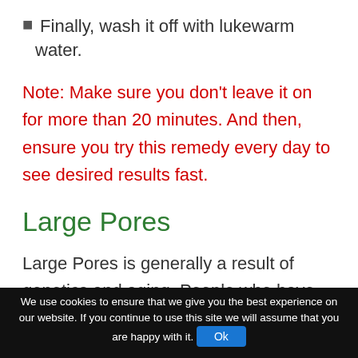Finally, wash it off with lukewarm water.
Note: Make sure you don't leave it on for more than 20 minutes. And then, ensure you try this remedy every day to see desired results fast.
Large Pores
Large Pores is generally a result of genetics and aging. People who have skin that is naturally thick and oily tend to have larger pores. Blackheads are also a
We use cookies to ensure that we give you the best experience on our website. If you continue to use this site we will assume that you are happy with it.